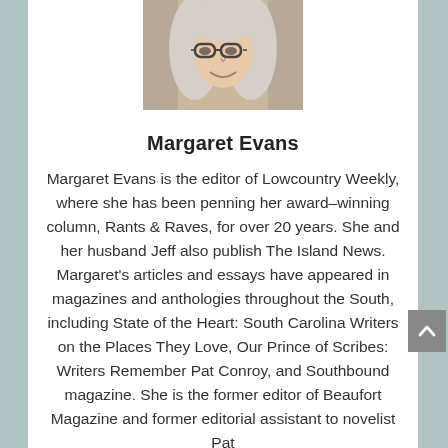[Figure (photo): Headshot photo of Margaret Evans, a woman with blonde/grey hair and glasses, smiling]
Margaret Evans
Margaret Evans is the editor of Lowcountry Weekly, where she has been penning her award–winning column, Rants & Raves, for over 20 years. She and her husband Jeff also publish The Island News. Margaret's articles and essays have appeared in magazines and anthologies throughout the South, including State of the Heart: South Carolina Writers on the Places They Love, Our Prince of Scribes: Writers Remember Pat Conroy, and Southbound magazine. She is the former editor of Beaufort Magazine and former editorial assistant to novelist Pat